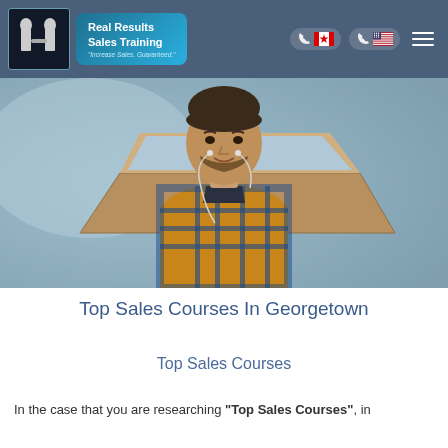Real Results Sales Training - "Increase Sales. Guaranteed."
[Figure (photo): A man with short hair and beard wearing a plaid yellow/blue shirt and earbuds, looking at a laptop screen. Background is blurred, indoor setting.]
Top Sales Courses In Georgetown
Top Sales Courses
In the case that you are researching "Top Sales Courses", in